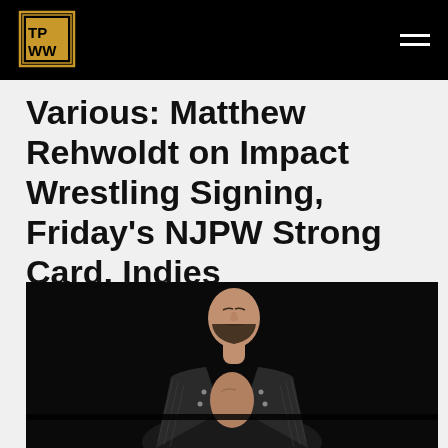TPWW logo and navigation header
Various: Matthew Rehwoldt on Impact Wrestling Signing, Friday's NJPW Strong Card, Indies
[Figure (photo): A bald, bearded man with tattoos wearing an open black and white striped jacket, photographed against a dark background, looking upward]